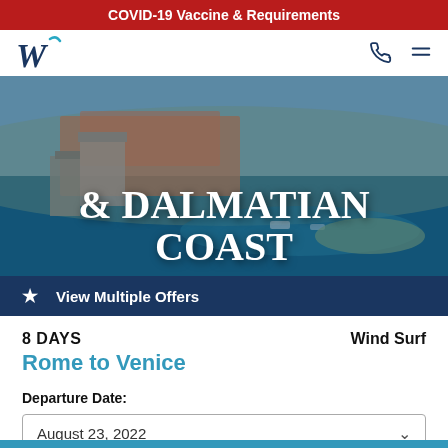COVID-19 Vaccine & Requirements
[Figure (logo): Windstar Cruises W logo with teal curl accent]
[Figure (photo): Aerial photo of Dubrovnik old town harbor with orange rooftops, fortress walls, and turquoise Adriatic sea]
& DALMATIAN COAST
View Multiple Offers
8 DAYS
Wind Surf
Rome to Venice
Departure Date:
August 23, 2022